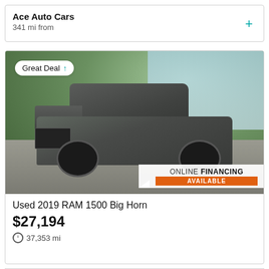Ace Auto Cars
341 mi from
[Figure (photo): Photo of a gray 2019 RAM 1500 Big Horn pickup truck parked outdoors with trees in background. Badge reads 'Great Deal' with teal arrow. Banner in lower right corner reads 'ONLINE FINANCING AVAILABLE' with orange accent.]
Used 2019 RAM 1500 Big Horn
$27,194
37,353 mi